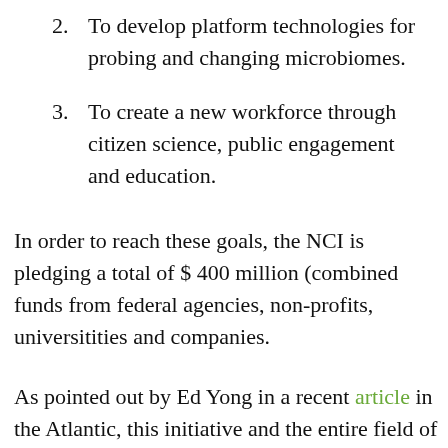2. To develop platform technologies for probing and changing microbiomes.
3. To create a new workforce through citizen science, public engagement and education.
In order to reach these goals, the NCI is pledging a total of $ 400 million (combined funds from federal agencies, non-profits, universitities and companies.
As pointed out by Ed Yong in a recent article in the Atlantic, this initiative and the entire field of microbiome science has paradigm shifting implications: “If microbiome science tells us anything, it’s that everything is secretly ecology. The biology of oceans and bodies and soils is really about the connections and relationships between living things, many of which have gone unnoticed